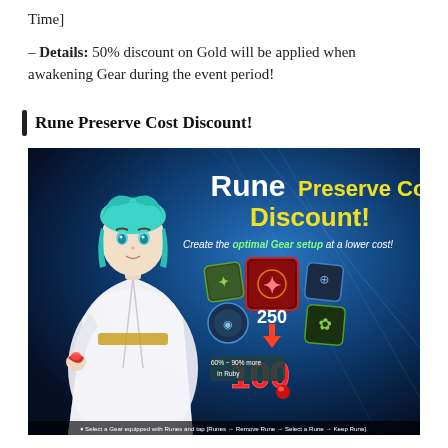Time]
– Details: 50% discount on Gold will be applied when awakening Gear during the event period!
Rune Preserve Cost Discount!
[Figure (illustration): Game promotional banner for 'Rune Preserve Cost Discount!' featuring an anime-style character with teal hair in white outfit, with text showing cost reduction from 250 to 100 Ruby, and caption: Select a Gear equipped with Runes and tap [Runes > Remove Rune > Select a Rune > Keep Rune].]